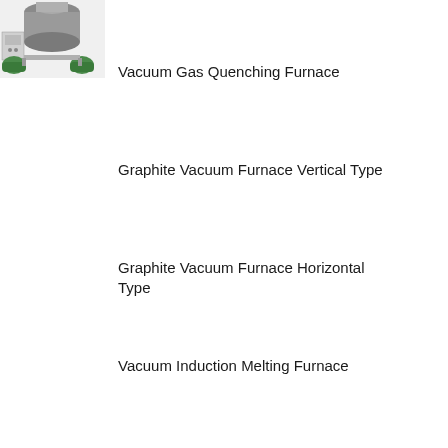[Figure (photo): Vacuum Gas Quenching Furnace machine photo — industrial equipment with tanks, control panel, and green pump units]
Vacuum Gas Quenching Furnace
Graphite Vacuum Furnace Vertical Type
Graphite Vacuum Furnace Horizontal Type
Vacuum Induction Melting Furnace